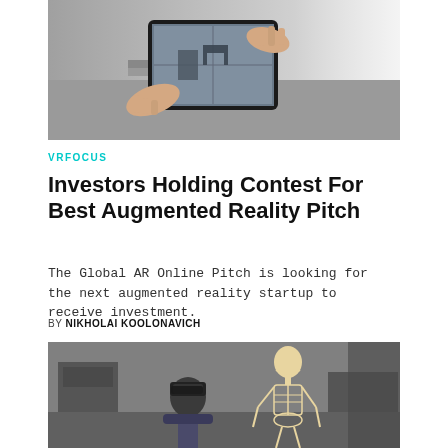[Figure (photo): Person holding a tablet displaying an augmented reality view of a room interior]
VRFOCUS
Investors Holding Contest For Best Augmented Reality Pitch
The Global AR Online Pitch is looking for the next augmented reality startup to receive investment.
BY NIKHOLAI KOOLONAVICH
[Figure (photo): Person wearing AR headset with a 3D skeleton figure visible in augmented reality]